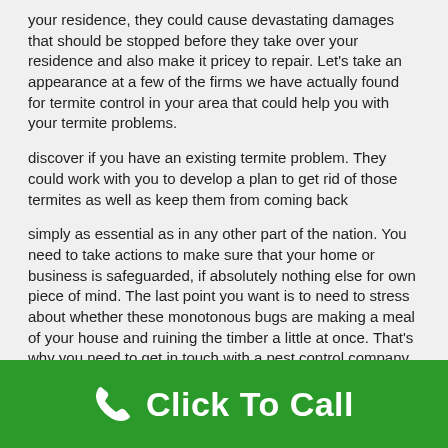your residence, they could cause devastating damages that should be stopped before they take over your residence and also make it pricey to repair. Let's take an appearance at a few of the firms we have actually found for termite control in your area that could help you with your termite problems.
discover if you have an existing termite problem. They could work with you to develop a plan to get rid of those termites as well as keep them from coming back
simply as essential as in any other part of the nation. You need to take actions to make sure that your home or business is safeguarded, if absolutely nothing else for own piece of mind. The last point you want is to need to stress about whether these monotonous bugs are making a meal of your house and ruining the timber a little at once. That's why you need to get in touch with a pest control company for complete termite control in your local location.
certain that you pick a firm that is licensed and guaranteed so you do not waste your money on an unprofessional procedure. Inspect out their referrals as well as locate somebody you count on. All homeowners have to take the danger of termites seriously. Obtaining termite control locally is simple, so hop on top of it today!
The number of pest control companies in an around this area are lots of as well as differed, and all use several options
Click To Call